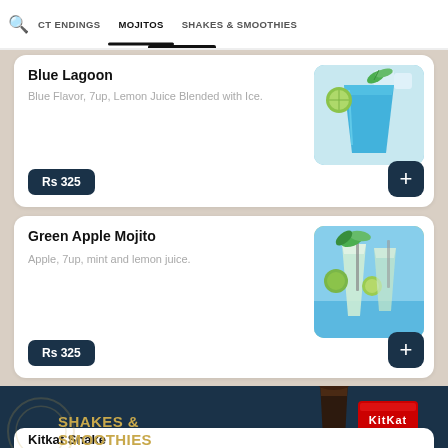CT ENDINGS  MOJITOS  SHAKES & SMOOTHIES
Blue Lagoon
Blue Flavor, 7up, Lemon Juice Blended with Ice.
Rs 325
[Figure (photo): Blue cocktail drink with lime and mint leaves on ice]
Green Apple Mojito
Apple, 7up, mint and lemon juice.
Rs 325
[Figure (photo): Green apple mojito with lime, mint and straw on beach background]
SHAKES & SMOOTHIES
[Figure (photo): Chocolate shake with KitKat bar and mint leaves]
Kitkat Shake